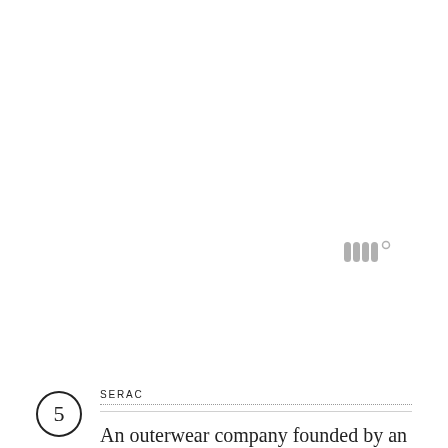[Figure (logo): A small grey logo resembling stylized vertical bars or letters 'WW' with a degree symbol, positioned in the right-center area of the page]
5 SERAC
An outerwear company founded by an